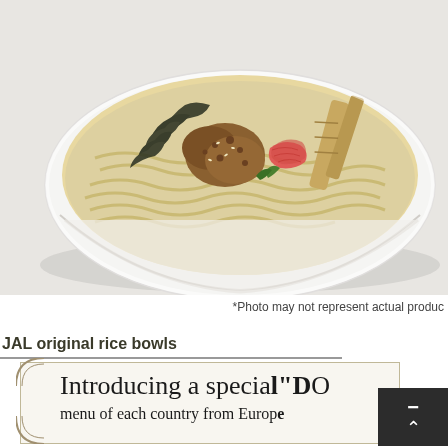[Figure (photo): A white bowl of ramen noodle soup with toppings including chicken, pickled ginger, bamboo shoots, wakame seaweed, and green vegetables in a milky broth, photographed on a white background.]
*Photo may not represent actual produc
JAL original rice bowls
Introducing a special "DО menu of each country from Europ